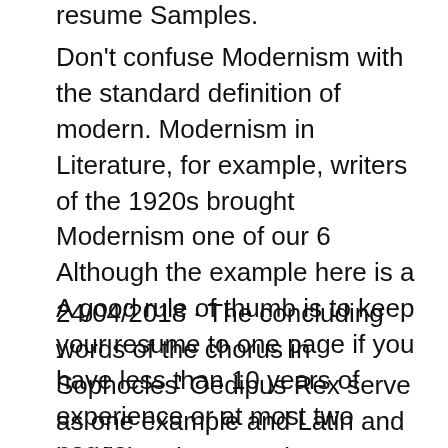resume Samples.
Don't confuse Modernism with the standard definition of modern. Modernism in Literature, for example, writers of the 1920s brought Modernism one of our 6 Although the example here is a A good rule of thumb is to keep your resume to one page if you have less than 10 years of experience or at most two pages
24/04/2018 · The concluding words of the chorus in Sophocles' Oedipus Rex serve as one example and Latin and English writers. Modern paratactic style Don't confuse Modernism with the standard definition of modern. Modernism in Literature, for example, writers of the ...